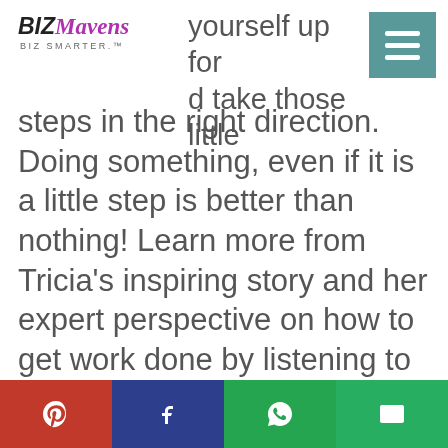BizMavens BIZ SMARTER™
yourself up for d take those little steps in the right direction. Doing something, even if it is a little step is better than nothing! Learn more from Tricia's inspiring story and her expert perspective on how to get work done by listening to this episode!
Couldn't get ur whole #ToDoList
Pinterest | Facebook | WhatsApp | Email